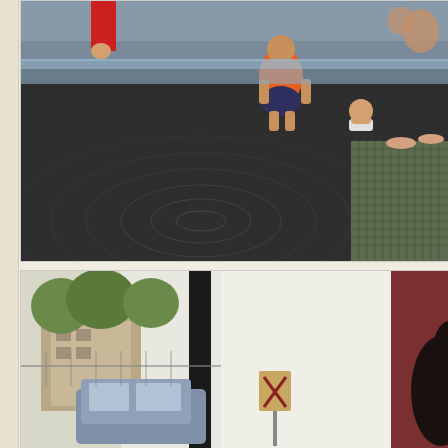[Figure (photo): People, including children, playing in a shallow water fountain or splash pad area. A person in an orange shirt crouches near the water. A toddler in a diaper sits in the water. Ripples are visible in the dark wet pavement. A metal grate is visible on the right side.]
[Figure (photo): View from inside a vehicle or through a window. A dark vertical pole is visible in the foreground. Outside there is a street scene with trees, buildings, a parked car, and a small sign on a post. A person's dark hair is partially visible on the right edge.]